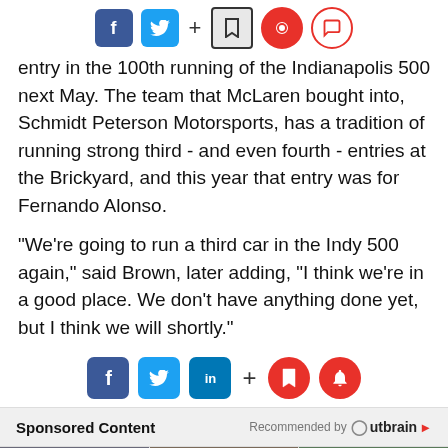[Figure (other): Social sharing toolbar with Facebook, Twitter, plus, bookmark, share, and comment icons]
entry in the 100th running of the Indianapolis 500 next May. The team that McLaren bought into, Schmidt Peterson Motorsports, has a tradition of running strong third - and even fourth - entries at the Brickyard, and this year that entry was for Fernando Alonso.
"We're going to run a third car in the Indy 500 again," said Brown, later adding, "I think we're in a good place. We don't have anything done yet, but I think we will shortly."
[Figure (other): Social sharing toolbar bottom with Facebook, Twitter, LinkedIn, plus, bookmark and notification bell icons]
Sponsored Content  Recommended by Outbrain
[Figure (other): Three sponsored content thumbnail images in a row]